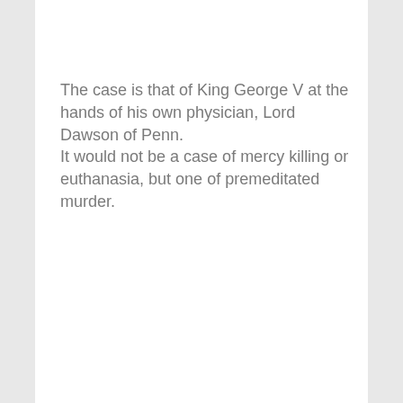The case is that of King George V at the hands of his own physician, Lord Dawson of Penn.
It would not be a case of mercy killing or euthanasia, but one of premeditated murder.